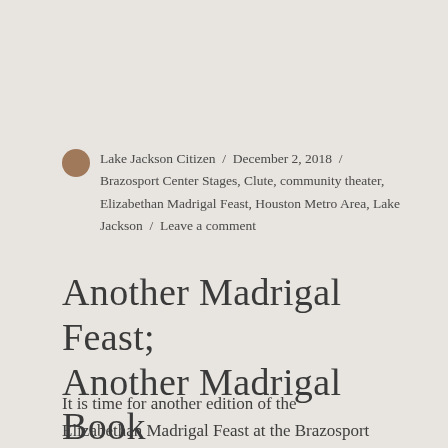Lake Jackson Citizen / December 2, 2018 / Brazosport Center Stages, Clute, community theater, Elizabethan Madrigal Feast, Houston Metro Area, Lake Jackson / Leave a comment
Another Madrigal Feast; Another Madrigal Book
It is time for another edition of the Elizabethan Madrigal Feast at the Brazosport Center for the Arts and Sciences in Clute